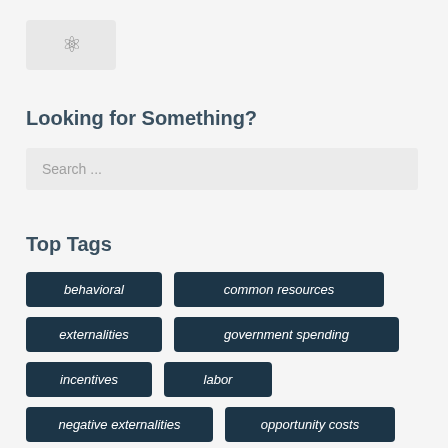[Figure (logo): Logo icon with chain/link symbol on light grey background]
Looking for Something?
Search ...
Top Tags
behavioral
common resources
externalities
government spending
incentives
labor
negative externalities
opportunity costs